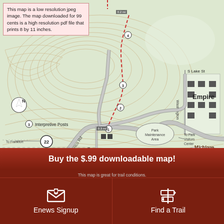[Figure (map): Topographic trail map showing Empire, Michigan area with trails, roads including Wilco Rd, Shomer Rd, S Lake St, and Washington road. Features a north arrow, interpretive posts marker, park maintenance area, numbered trail markers, dashed trail route in red, route 22 markers, and the Michigan TrailMaps.com logo/watermark. A pink notice box states the map is a low resolution jpeg image and a high resolution pdf is available for 99 cents.]
This map is a low resolution jpeg image. The map downloaded for 99 cents is a high resolution pdf file that prints 8 by 11 inches.
Buy the $.99 downloadable map!
Enews Signup
Find a Trail